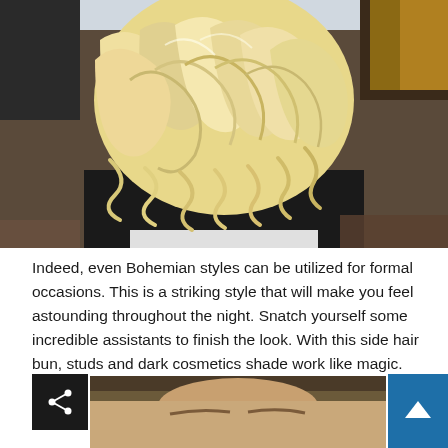[Figure (photo): Back view of a person with short blonde wavy/curly hair, wearing a black top, photographed from behind outdoors.]
Indeed, even Bohemian styles can be utilized for formal occasions. This is a striking style that will make you feel astounding throughout the night. Snatch yourself some incredible assistants to finish the look. With this side hair bun, studs and dark cosmetics shade work like magic.
[Figure (photo): Partial photo of a person's face/forehead visible at bottom of page, warm skin tones.]